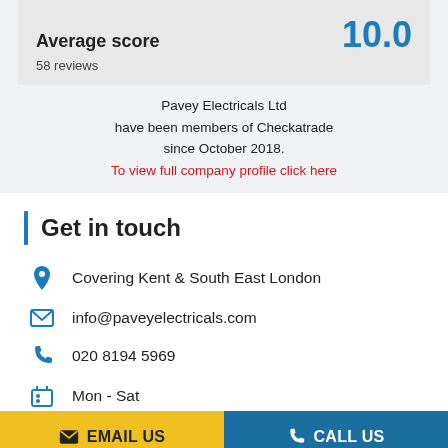Average score   10.0
58 reviews
Pavey Electricals Ltd have been members of Checkatrade since October 2018.
To view full company profile click here
Get in touch
Covering Kent & South East London
info@paveyelectricals.com
020 8194 5969
Mon - Sat
EMAIL US   CALL US